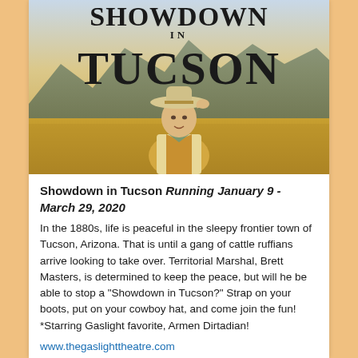[Figure (illustration): Theatrical poster for 'Showdown in Tucson' showing bold serif text title at top and a man in cowboy hat and western attire tipping his hat, set against a golden desert landscape with mountains in background.]
Showdown in Tucson Running January 9 - March 29, 2020
In the 1880s, life is peaceful in the sleepy frontier town of Tucson, Arizona. That is until a gang of cattle ruffians arrive looking to take over. Territorial Marshal, Brett Masters, is determined to keep the peace, but will he be able to stop a "Showdown in Tucson?" Strap on your boots, put on your cowboy hat, and come join the fun! *Starring Gaslight favorite, Armen Dirtadian!
www.thegaslighttheatre.com